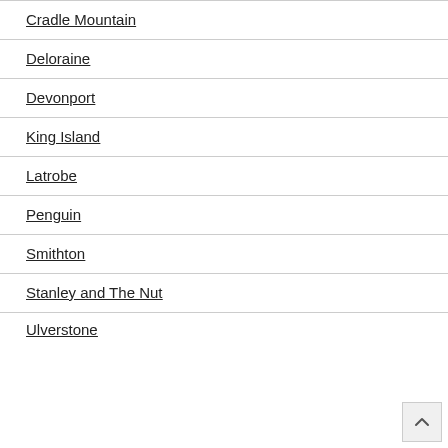Cradle Mountain
Deloraine
Devonport
King Island
Latrobe
Penguin
Smithton
Stanley and The Nut
Ulverstone